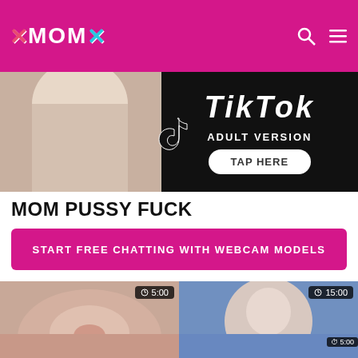XMOMX
[Figure (photo): Advertisement banner for TikTok adult version with tap here button]
MOM PUSSY FUCK
START FREE CHATTING WITH WEBCAM MODELS
[Figure (photo): Video thumbnail - close up skin toned image with duration badge 5:00 and watermark DFa]
Meaning of defloration explained in a porn vid
[Figure (photo): Video thumbnail - woman on blue background with duration badge 15:00]
Creamy pussy showcased during a live stream